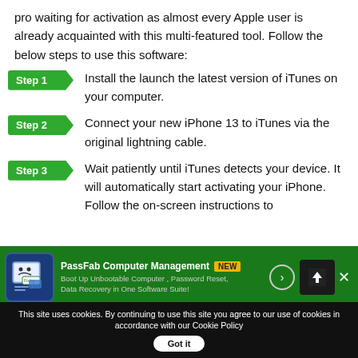pro waiting for activation as almost every Apple user is already acquainted with this multi-featured tool. Follow the below steps to use this software:
Step 1 — Install the launch the latest version of iTunes on your computer.
Step 2 — Connect your new iPhone 13 to iTunes via the original lightning cable.
Step 3 — Wait patiently until iTunes detects your device. It will automatically start activating your iPhone. Follow the on-screen instructions to...
[Figure (infographic): Advertisement banner for PassFab Computer Management with NEW badge, showing a blue icon with a sad face computer and fixing dialog, text: Boot Up Unbootable Computer, Password Reset, Data Recovery in One Software Suite!]
This site uses cookies. By continuing to use this site you agree to our use of cookies in accordance with our Cookie Policy   Got it